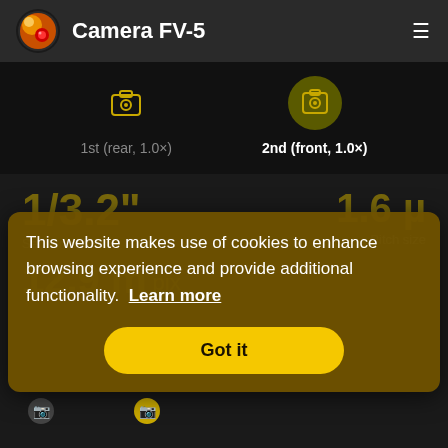Camera FV-5
1st (rear, 1.0×)
2nd (front, 1.0×)
1/3.2"
1.6 µ
Sensor size
Pitch size
12.9 mpix
This website makes use of cookies to enhance browsing experience and provide additional functionality. Learn more
Got it